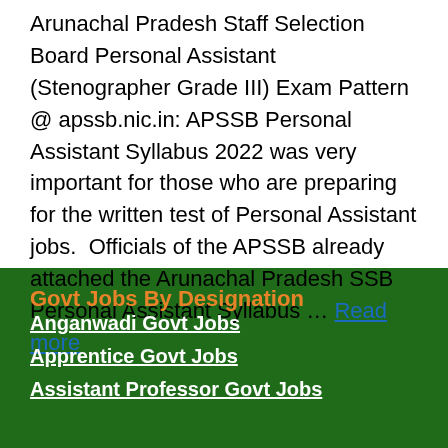Arunachal Pradesh Staff Selection Board Personal Assistant (Stenographer Grade III) Exam Pattern @ apssb.nic.in: APSSB Personal Assistant Syllabus 2022 was very important for those who are preparing for the written test of Personal Assistant jobs. Officials of the APSSB already attached the Arunachal Pradesh SSB Personal Assistant Syllabus … Read more
Govt Jobs By Designation
Anganwadi Govt Jobs
Apprentice Govt Jobs
Assistant Professor Govt Jobs